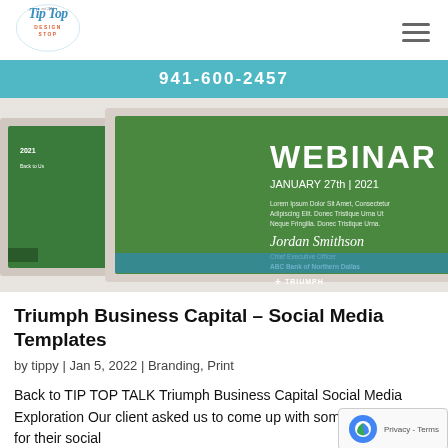[Figure (logo): Tip Top Design Stop logo — handwritten script style logo in blue and red]
[Figure (photo): Webinar promotional materials showing green branded social media templates featuring Jordan Smithson, Chief Executive Officer at ABC Bank of Northern Dallas, for Triumph Bank webinar January 27th 2021]
Triumph Business Capital – Social Media Templates
by tippy | Jan 5, 2022 | Branding, Print
Back to TIP TOP TALK Triumph Business Capital Social Media Exploration Our client asked us to come up with some design ideas for their social